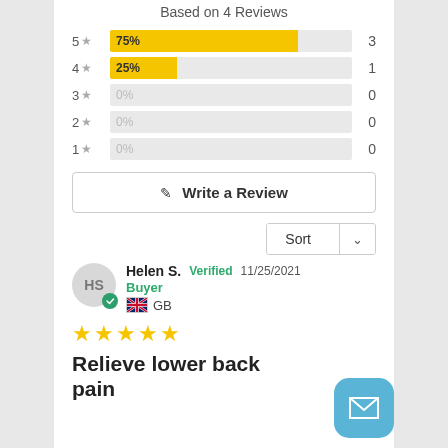Based on 4 Reviews
[Figure (bar-chart): Star rating distribution]
Write a Review
Sort
Helen S.  Verified  11/25/2021
Buyer
GB
★★★★★
Relieve lower back pain